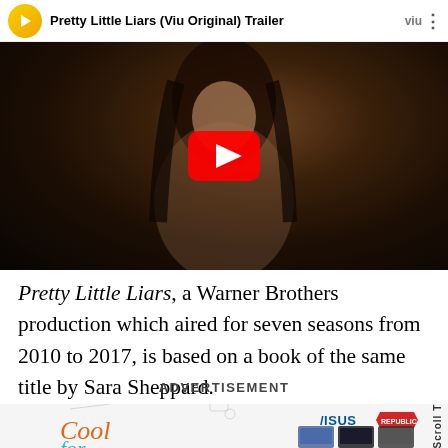[Figure (screenshot): YouTube-style video thumbnail for 'Pretty Little Liars (Viu Original) Trailer' showing a young woman in cinematic dark lighting with a YouTube play button overlay and a white title bar at top with a yellow circle play icon, Viu branding, and three-dot menu.]
Pretty Little Liars, a Warner Brothers production which aired for seven seasons from 2010 to 2017, is based on a book of the same title by Sara Sheppard.
ADVERTISEMENT
[Figure (screenshot): Partial advertisement banner for ASUS ROG (Republic of Gaming) featuring 'Cool for School' branding and laptop product images. Text 'Scroll To Top' appears vertically on the right side.]